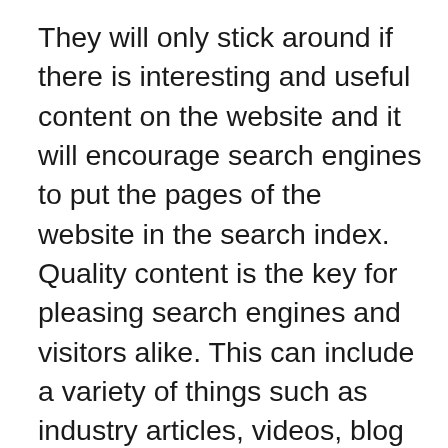They will only stick around if there is interesting and useful content on the website and it will encourage search engines to put the pages of the website in the search index. Quality content is the key for pleasing search engines and visitors alike. This can include a variety of things such as industry articles, videos, blog posts, infographics, podcasts and How to guides and tutorials. It is a huge investment, but is worth the benefits it provides. Visitors share the content on social media networks like Google+, Twitter, Facebook and Instagram, which can lead to even more visitors.